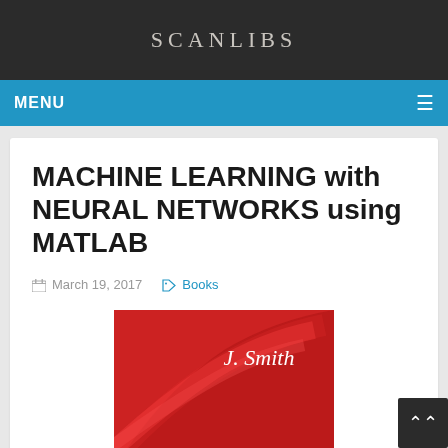SCANLIBS
MENU
MACHINE LEARNING with NEURAL NETWORKS using MATLAB
March 19, 2017   Books
[Figure (photo): Book cover for 'Machine Learning with Neural Networks using MATLAB' by J. Smith. Red cover with curved design elements showing author name 'J. Smith' in white text.]